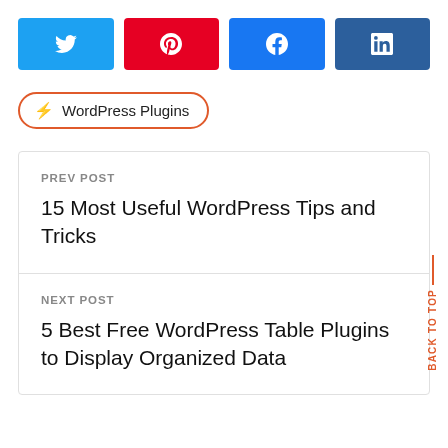[Figure (other): Social share buttons: Twitter (blue), Pinterest (red), Facebook (blue), LinkedIn (dark blue)]
⚡ WordPress Plugins
PREV POST
15 Most Useful WordPress Tips and Tricks
NEXT POST
5 Best Free WordPress Table Plugins to Display Organized Data
BACK TO TOP